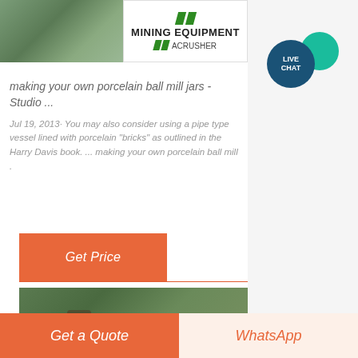[Figure (photo): Top image split: left side shows outdoor equipment/construction scene with greenish tones, right side shows Mining Equipment ACrusher logo with green slashes]
making your own porcelain ball mill jars - Studio ...
Jul 19, 2013· You may also consider using a pipe type vessel lined with porcelain "bricks" as outlined in the Harry Davis book. ... making your own porcelain ball mill .
[Figure (other): Get Price orange button]
[Figure (photo): Bottom image showing outdoor industrial/construction scene with green landscape and figures]
[Figure (other): Live Chat bubble icon in right sidebar]
Get a Quote
WhatsApp